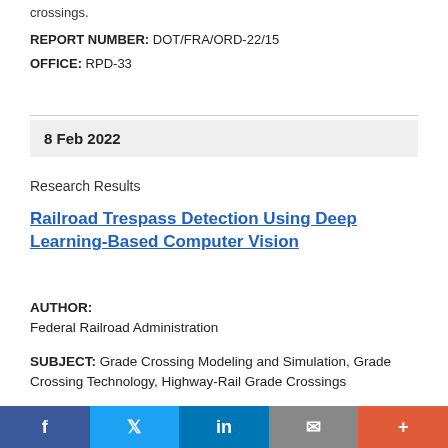crossings.
REPORT NUMBER: DOT/FRA/ORD-22/15
OFFICE: RPD-33
8 Feb 2022
Research Results
Railroad Trespass Detection Using Deep Learning-Based Computer Vision
AUTHOR:
Federal Railroad Administration
SUBJECT: Grade Crossing Modeling and Simulation, Grade Crossing Technology, Highway-Rail Grade Crossings